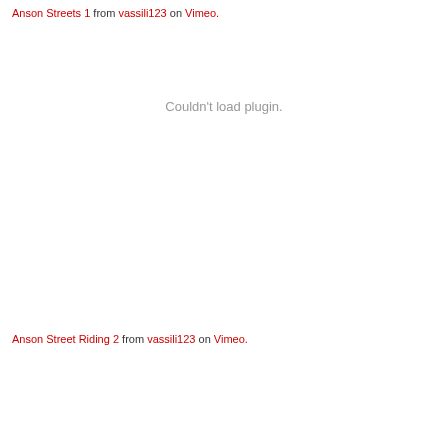Anson Streets 1 from vassili123 on Vimeo.
[Figure (other): Embedded Vimeo video placeholder showing 'Couldn't load plugin.' message]
Anson Street Riding 2 from vassili123 on Vimeo.